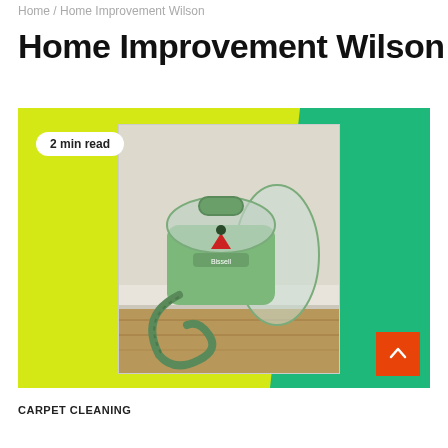Home / Home Improvement Wilson
Home Improvement Wilson
[Figure (photo): A green Bissell portable carpet cleaner / spot cleaner machine on a wooden floor against a white wall, shown within a colorful yellow and green feature image block with a '2 min read' badge and a scroll-up orange button]
CARPET CLEANING